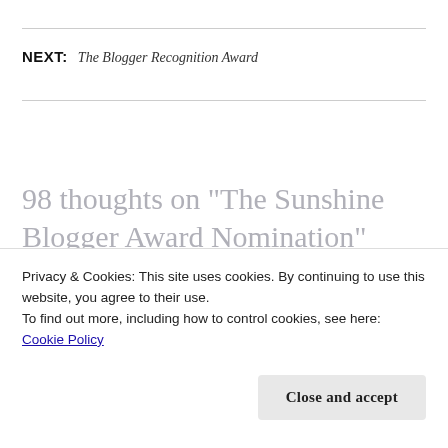NEXT: The Blogger Recognition Award
98 thoughts on “The Sunshine Blogger Award Nomination”
Naomi (Inching Forwards) says:
Privacy & Cookies: This site uses cookies. By continuing to use this website, you agree to their use.
To find out more, including how to control cookies, see here: Cookie Policy
Close and accept